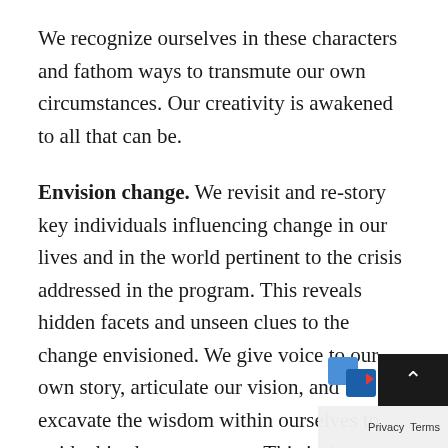We recognize ourselves in these characters and fathom ways to transmute our own circumstances. Our creativity is awakened to all that can be.
Envision change. We revisit and re-story key individuals influencing change in our lives and in the world pertinent to the crisis addressed in the program. This reveals hidden facets and unseen clues to the change envisioned. We give voice to our own story, articulate our vision, and excavate the wisdom within ourselves to guide this change process. This isn't a mental exercise. We fully embody this wisdom and enliven our vision w full presence. We astonish ourselves by the